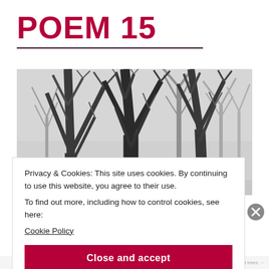POEM 15
[Figure (photo): Black and white photograph of bare winter trees with intertwining branches against a light grey sky]
Privacy & Cookies: This site uses cookies. By continuing to use this website, you agree to their use.
To find out more, including how to control cookies, see here:
Cookie Policy
Close and accept